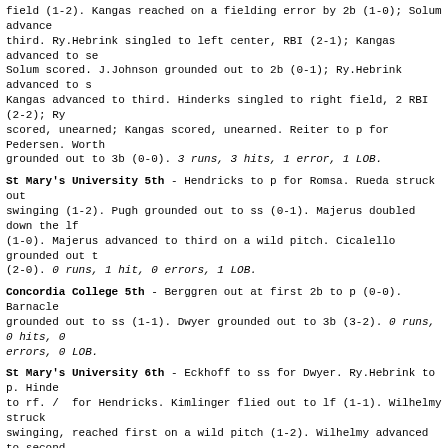field (1-2). Kangas reached on a fielding error by 2b (1-0); Solum advanced to third. Ry.Hebrink singled to left center, RBI (2-1); Kangas advanced to second; Solum scored. J.Johnson grounded out to 2b (0-1); Ry.Hebrink advanced to second; Kangas advanced to third. Hinderks singled to right field, 2 RBI (2-2); Ry.Hebrink scored, unearned; Kangas scored, unearned. Reiter to p for Pedersen. Worthington grounded out to 3b (0-0). 3 runs, 3 hits, 1 error, 1 LOB.
St Mary's University 5th - Hendricks to p for Romsa. Rueda struck out swinging (1-2). Pugh grounded out to ss (0-1). Majerus doubled down the lf line (1-0). Majerus advanced to third on a wild pitch. Cicalello grounded out to p (2-0). 0 runs, 1 hit, 0 errors, 1 LOB.
Concordia College 5th - Berggren out at first 2b to p (0-0). Barnacle grounded out to ss (1-1). Dwyer grounded out to 3b (3-2). 0 runs, 0 hits, 0 errors, 0 LOB.
St Mary's University 6th - Eckhoff to ss for Dwyer. Ry.Hebrink to p. Hinderks to rf. / for Hendricks. Kimlinger flied out to lf (1-1). Wilhelmy struck out swinging, reached first on a wild pitch (1-2). Wilhelmy advanced to second on a wild pitch. Wilhelmy advanced to third on a wild pitch. Rink walked (3-2). Gornick singled (3-1); Rink advanced to second. Winecke homered to right center, 4 RBI (1-0); Gornick scored; Rink scored; Wilhelmy scored. Rueda walked (3-2). Esala to p for Eckhoff. Ry.Hebrink to ss. Pugh reached on a fielder's choice (1-2); Rueda out at second ss to 2b. Majerus singled to right field (3-2); Pugh advanced to third. Cicalello singled to second base, RBI (3-1); Majerus advanced to second; Pugh scored. Kimlinger grounded out to 2b (0-1). 5 runs, 3 hits, 0 errors, 2 LOB.
Concordia College 6th - Solum grounded out to p (2-2). Kangas walked (3-0). Ry.Hebrink doubled to left center, RBI (0-0); Kangas scored. J.Johnson singled through the middle, RBI (0-0); Ry.Hebrink scored. Kittleson to p for Reiter. Hinderks walked (3-2); J.Johnson advanced to second. Worthington doubled to left field (2-2); Hinderks advanced to third; J.Johnson advanced to third, out at home lf to c. Weiss pinch hit for Berggren. Weiss singled through the right side, 2 RBI (1-0); Worthington scored; Hinderks scored. Barnacle hit by pitch (1-0); Weiss advanced to second. S.Johnson pinch hit for Esala. S.Johnson doubled to left center, RBI (0-0); Barnacle advanced to third; Weiss scored. Solum grounded out to p, bunt (0-0). 5 runs, 5 hits, 0 errors, 2 LOB.
St Mary's University 7th - S.Johnson to rf. Hinderks to p. Denet to 3b for Weiss. Wilhelmy doubled down the lf line (1-1). Rink fouled out to 1b (1-0). Gornick struck out looking (2-2). Winecke walked (3-1). Cosgrove pinch hit for Ru